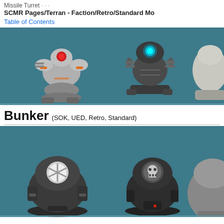Missile Turret ... SCMR Pages/Terran - Faction/Retro/Standard Mo...
Table of Contents
[Figure (illustration): Three StarCraft-style mechanical turret/mech units shown against a teal background. Left unit is a grey mech with red markings and orange details. Center unit is a dark mech with cyan/green glowing eye. Right unit is partially cropped, lighter colored.]
Bunker (SOK, UED, Retro, Standard)
[Figure (illustration): Three StarCraft-style bunker units shown against a teal background. Left bunker is dark grey with white star/snowflake emblem on top. Center bunker is dark with skull-like emblem. Right bunker is partially cropped with lighter grey coloring.]